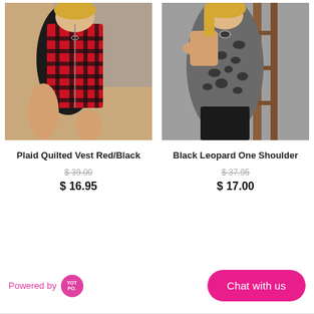[Figure (photo): Woman wearing a red and black plaid quilted vest, seated outdoors]
[Figure (photo): Woman wearing a gray and black leopard print off-shoulder top with black leather pants]
Plaid Quilted Vest Red/Black
$ 39.00
$ 16.95
Black Leopard One Shoulder
$ 37.95
$ 17.00
Powered by YOT PO.
Chat with us